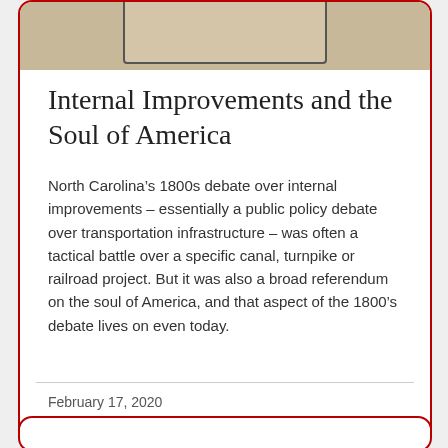[Figure (photo): Partial photo of a framed document or book, cropped at top of card]
Internal Improvements and the Soul of America
North Carolina’s 1800s debate over internal improvements – essentially a public policy debate over transportation infrastructure – was often a tactical battle over a specific canal, turnpike or railroad project. But it was also a broad referendum on the soul of America, and that aspect of the 1800’s debate lives on even today.
February 17, 2020